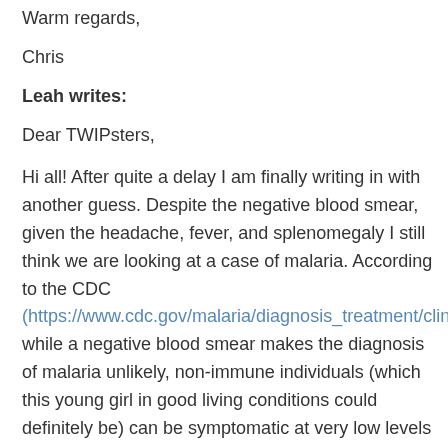Warm regards,
Chris
Leah writes:
Dear TWIPsters,
Hi all! After quite a delay I am finally writing in with another guess. Despite the negative blood smear, given the headache, fever, and splenomegaly I still think we are looking at a case of malaria. According to the CDC (https://www.cdc.gov/malaria/diagnosis_treatment/clinician while a negative blood smear makes the diagnosis of malaria unlikely, non-immune individuals (which this young girl in good living conditions could definitely be) can be symptomatic at very low levels of parasitemia, making blood smears challenging. I'm assuming that when the patient came back in on Wednesday, another blood smear was done which may have been positive?